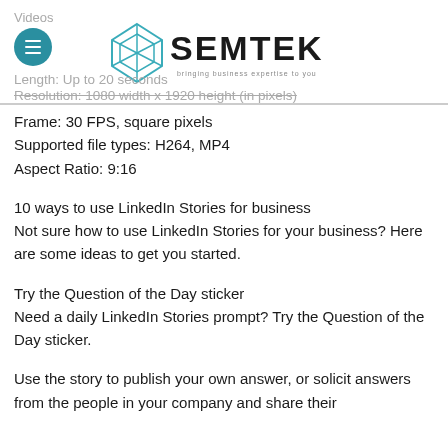Videos
[Figure (logo): Semtek logo with diamond/gem icon and tagline 'bringing business expertise to you']
Length: Up to 20 seconds
Resolution: 1080 width x 1920 height (in pixels)
Frame: 30 FPS, square pixels
Supported file types: H264, MP4
Aspect Ratio: 9:16
10 ways to use LinkedIn Stories for business
Not sure how to use LinkedIn Stories for your business? Here are some ideas to get you started.
Try the Question of the Day sticker
Need a daily LinkedIn Stories prompt? Try the Question of the Day sticker.
Use the story to publish your own answer, or solicit answers from the people in your company and share their